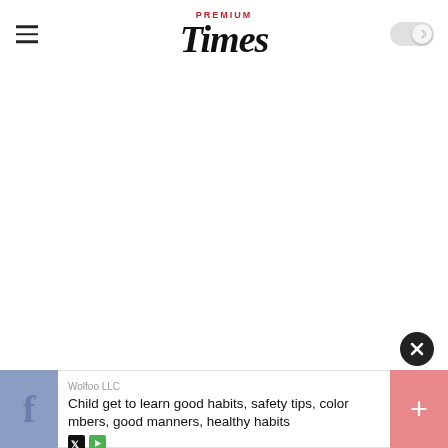Premium Times
[Figure (screenshot): Large blank white content area below the header navigation bar]
Wolfoo LLC
Child get to learn good habits, safety tips, color mbers, good manners, healthy habits